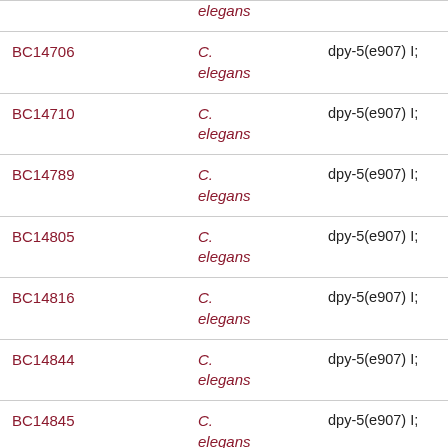| Strain | Species | Genotype |
| --- | --- | --- |
|  | elegans |  |
| BC14706 | C. elegans | dpy-5(e907) I; |
| BC14710 | C. elegans | dpy-5(e907) I; |
| BC14789 | C. elegans | dpy-5(e907) I; |
| BC14805 | C. elegans | dpy-5(e907) I; |
| BC14816 | C. elegans | dpy-5(e907) I; |
| BC14844 | C. elegans | dpy-5(e907) I; |
| BC14845 | C. elegans | dpy-5(e907) I; |
| BC14852 | C. elegans | dpy-5(e907) I; |